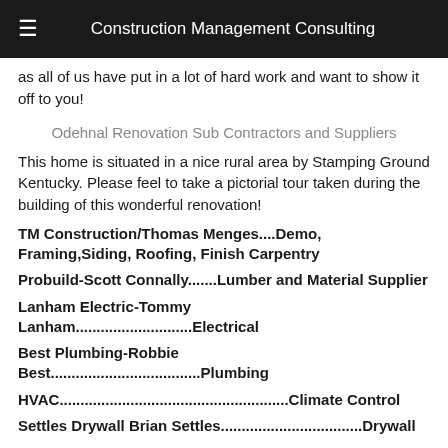Construction Management Consulting
as all of us have put in a lot of hard work and want to show it off to you!
Odehnal Renovation Sub Contractors and Suppliers
This home is situated in a nice rural area by Stamping Ground Kentucky. Please feel to take a pictorial tour taken during the building of this wonderful renovation!
TM Construction/Thomas Menges....Demo, Framing,Siding, Roofing, Finish Carpentry
Probuild-Scott Connally.......Lumber and Material Supplier
Lanham Electric-Tommy Lanham............................Electrical
Best Plumbing-Robbie Best....................................Plumbing
HVAC.......................................................Climate Control
Settles Drywall Brian Settles..................................Drywall